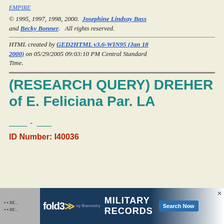EMPIRE
© 1995, 1997, 1998, 2000. Josephine Lindsay Bass and Becky Bonner. All rights reserved.
HTML created by GED2HTML v3.6-WIN95 (Jan 18 2000) on 05/29/2005 09:03:10 PM Central Standard Time.
(RESEARCH QUERY) DREHER of E. Feliciana Par. LA
_____ - _____
ID Number: I40036
[Figure (screenshot): fold3 Military Records advertisement banner with bullet list items RE... partially visible]